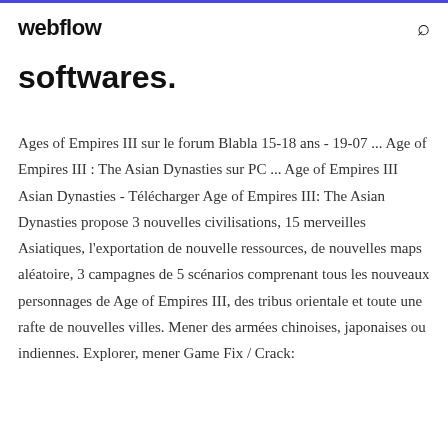webflow
softwares.
Ages of Empires III sur le forum Blabla 15-18 ans - 19-07 ... Age of Empires III : The Asian Dynasties sur PC ... Age of Empires III Asian Dynasties - Télécharger Age of Empires III: The Asian Dynasties propose 3 nouvelles civilisations, 15 merveilles Asiatiques, l'exportation de nouvelle ressources, de nouvelles maps aléatoire, 3 campagnes de 5 scénarios comprenant tous les nouveaux personnages de Age of Empires III, des tribus orientale et toute une rafte de nouvelles villes. Mener des armées chinoises, japonaises ou indiennes. Explorer, mener Game Fix / Crack: